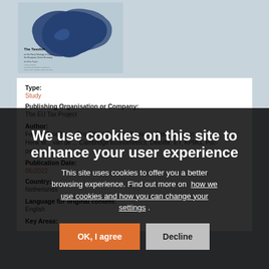[Figure (map): Book cover showing map of Europe with dark blue highlighted areas, titled 'The Taxshift']
Type:
Study
Publishing Organisation or Company:
The EU Tax Project
Author:
Femke Groothues (Pro EXtax Project); Advisors: Peter Geissen; Henk W... van de ... Cambridge Econometrics, Deloitte, EY, KPMG, Puc-partners.
Publication Date:
06/2022
Country:
Netherlands
Language for original content:
English
Key Areas:
We use cookies on this site to enhance your user experience
This site uses cookies to offer you a better browsing experience. Find out more on how we use cookies and how you can change your settings .